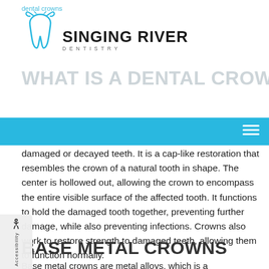dental crowns
[Figure (logo): Singing River Dentistry logo with stylized tooth icon and text 'SINGING RIVER DENTISTRY']
WHAT IS A DENTAL CROWN?
damaged or decayed teeth. It is a cap-like restoration that resembles the crown of a natural tooth in shape. The center is hollowed out, allowing the crown to encompass the entire visible surface of the affected tooth. It functions to hold the damaged tooth together, preventing further damage, while also preventing infections. Crowns also work to restore strength to damaged teeth, allowing them to function normally.
BASE METAL CROWNS
Base metal crowns are metal alloys, which is a